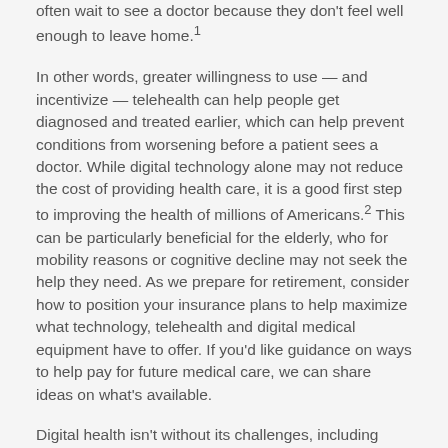often wait to see a doctor because they don't feel well enough to leave home.1
In other words, greater willingness to use — and incentivize — telehealth can help people get diagnosed and treated earlier, which can help prevent conditions from worsening before a patient sees a doctor. While digital technology alone may not reduce the cost of providing health care, it is a good first step to improving the health of millions of Americans.2 This can be particularly beneficial for the elderly, who for mobility reasons or cognitive decline may not seek the help they need. As we prepare for retirement, consider how to position your insurance plans to help maximize what technology, telehealth and digital medical equipment have to offer. If you'd like guidance on ways to help pay for future medical care, we can share ideas on what's available.
Digital health isn't without its challenges, including